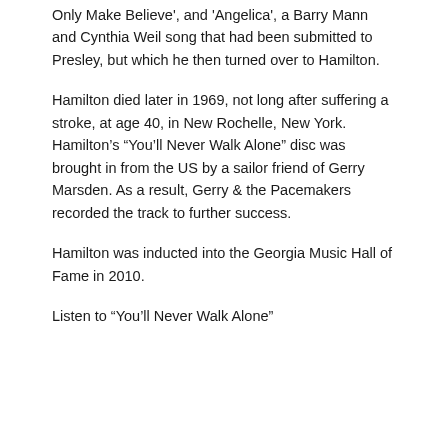Only Make Believe', and 'Angelica', a Barry Mann and Cynthia Weil song that had been submitted to Presley, but which he then turned over to Hamilton.
Hamilton died later in 1969, not long after suffering a stroke, at age 40, in New Rochelle, New York. Hamilton’s “You’ll Never Walk Alone” disc was brought in from the US by a sailor friend of Gerry Marsden. As a result, Gerry & the Pacemakers recorded the track to further success.
Hamilton was inducted into the Georgia Music Hall of Fame in 2010.
Listen to “You’ll Never Walk Alone”